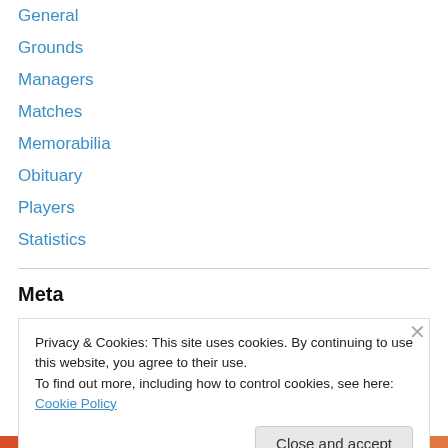General
Grounds
Managers
Matches
Memorabilia
Obituary
Players
Statistics
Meta
Register
Log in
Privacy & Cookies: This site uses cookies. By continuing to use this website, you agree to their use.
To find out more, including how to control cookies, see here: Cookie Policy
Close and accept